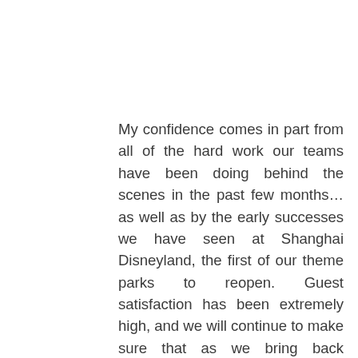My confidence comes in part from all of the hard work our teams have been doing behind the scenes in the past few months… as well as by the early successes we have seen at Shanghai Disneyland, the first of our theme parks to reopen. Guest satisfaction has been extremely high, and we will continue to make sure that as we bring back experiences, our attention to promoting your safety, maintaining your trust and providing unique ways for you to come together with family and friends to create